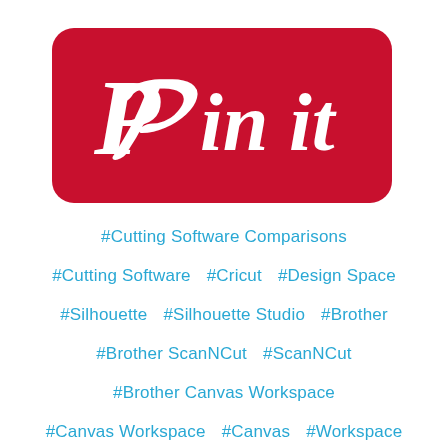[Figure (logo): Pinterest 'Pin it' button logo — red rounded rectangle with white Pinterest 'P' icon and 'Pin it' text in white script font]
#Cutting Software Comparisons
#Cutting Software   #Cricut   #Design Space
#Silhouette   #Silhouette Studio   #Brother
#Brother ScanNCut   #ScanNCut
#Brother Canvas Workspace
#Canvas Workspace   #Canvas   #Workspace
#Sure Cuts A Lot   #SCAL   #Vinylmaster Cut